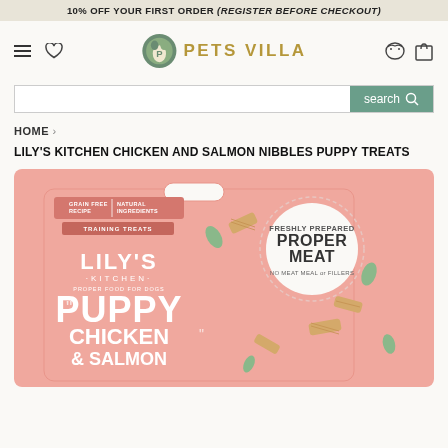10% OFF YOUR FIRST ORDER (REGISTER BEFORE CHECKOUT)
[Figure (logo): Pets Villa logo with circular dog icon and gold text 'PETS VILLA']
search
HOME ›
LILY'S KITCHEN CHICKEN AND SALMON NIBBLES PUPPY TREATS
[Figure (photo): Pink product packaging for Lily's Kitchen Puppy Chicken & Salmon training treats. Package shows 'GRAIN FREE RECIPE | NATURAL INGREDIENTS | TRAINING TREATS', 'PROPER MEAT' badge, 'NO MEAT MEAL or FILLERS', and scattered treat biscuits with leaf decorations.]